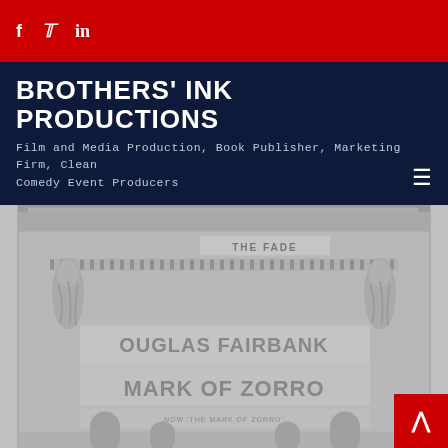Social media icons: Facebook, Twitter, LinkedIn
BROTHERS' INK PRODUCTIONS
Film and Media Production, Book Publisher, Marketing Firm, Clean Comedy Event Producers
[Figure (photo): Faded black and white vintage photo of a theater facade showing 'THE FACADE' signage and 'DOUGLAS FAIRBANKS MARK OF ZORRO' movie advertisement with ornate architectural details and statues]